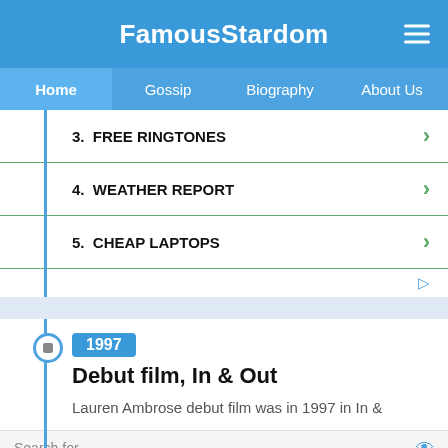FamousStardom
3. FREE RINGTONES
4. WEATHER REPORT
5. CHEAP LAPTOPS
1997
Debut film, In & Out
Lauren Ambrose debut film was in 1997 in In &
Search for
1. ONLINE GREETINGS
2. WHOLESALE ELECTRONICS